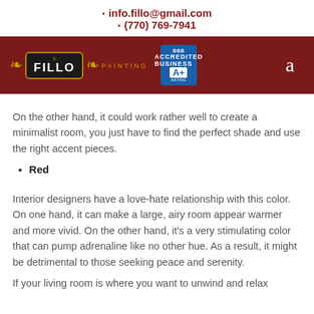info.fillo@gmail.com
(770) 769-7941
[Figure (logo): Fillo Painting logo with ornate badge and BBB A+ rating badge on dark red header bar with 'a' navigation icon]
On the other hand, it could work rather well to create a minimalist room, you just have to find the perfect shade and use the right accent pieces.
Red
Interior designers have a love-hate relationship with this color. On one hand, it can make a large, airy room appear warmer and more vivid. On the other hand, it's a very stimulating color that can pump adrenaline like no other hue. As a result, it might be detrimental to those seeking peace and serenity.
If your living room is where you want to unwind and relax